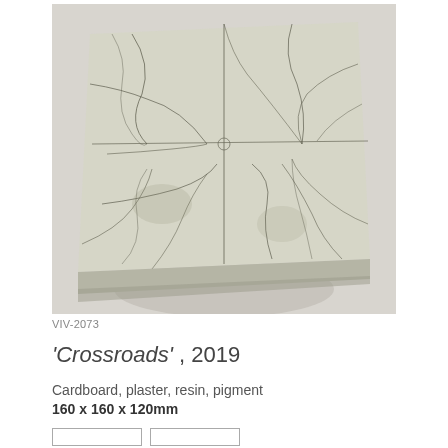[Figure (photo): Overhead view of a square sculptural artwork made of cardboard, plaster, resin and pigment. The surface shows a cracked, map-like pattern of dark lines on a pale off-white/sage background, viewed from above against a light grey wall.]
VIV-2073
'Crossroads', 2019
Cardboard, plaster, resin, pigment
160 x 160 x 120mm